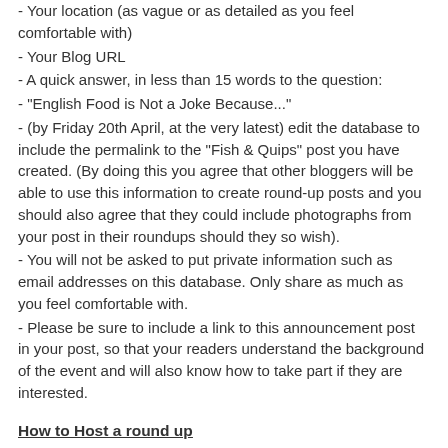- Your location (as vague or as detailed as you feel comfortable with)
- Your Blog URL
- A quick answer, in less than 15 words to the question:
- "English Food is Not a Joke Because..."
- (by Friday 20th April, at the very latest) edit the database to include the permalink to the "Fish & Quips" post you have created. (By doing this you agree that other bloggers will be able to use this information to create round-up posts and you should also agree that they could include photographs from your post in their roundups should they so wish).
- You will not be asked to put private information such as email addresses on this database. Only share as much as you feel comfortable with.
- Please be sure to include a link to this announcement post in your post, so that your readers understand the background of the event and will also know how to take part if they are interested.
How to Host a round up
- This part of the event is optional, but I thought it would be a great idea to give bloggers, especially those who have never hosted an event before, the experience of what it is like to do so.
- On Saturday April 21st I will publish the database (as it stands at